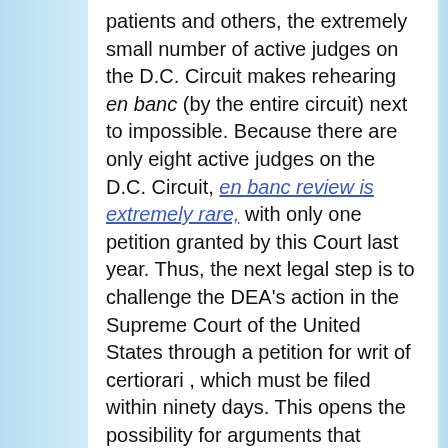patients and others, the extremely small number of active judges on the D.C. Circuit makes rehearing en banc (by the entire circuit) next to impossible. Because there are only eight active judges on the D.C. Circuit, en banc review is extremely rare, with only one petition granted by this Court last year. Thus, the next legal step is to challenge the DEA’s action in the Supreme Court of the United States through a petition for writ of certiorari , which must be filed within ninety days. This opens the possibility for arguments that exceed those allowed under the recently denied petition for rehearing.  It also provides an opportunity to raise awareness of this wrong-headed approach to medical marijuana at the highest judicial level.
Stay tuned for more details on the